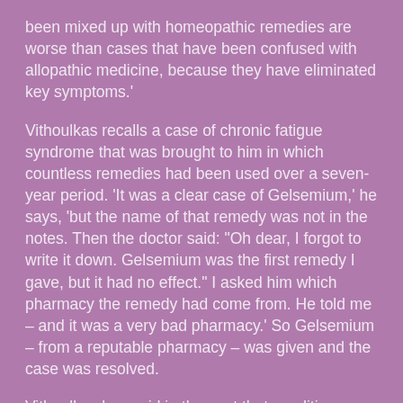been mixed up with homeopathic remedies are worse than cases that have been confused with allopathic medicine, because they have eliminated key symptoms.'
Vithoulkas recalls a case of chronic fatigue syndrome that was brought to him in which countless remedies had been used over a seven-year period. 'It was a clear case of Gelsemium,' he says, 'but the name of that remedy was not in the notes. Then the doctor said: "Oh dear, I forgot to write it down. Gelsemium was the first remedy I gave, but it had no effect." I asked him which pharmacy the remedy had come from. He told me – and it was a very bad pharmacy.' So Gelsemium – from a reputable pharmacy – was given and the case was resolved.
Vithoulkas has said in the past that conditions such